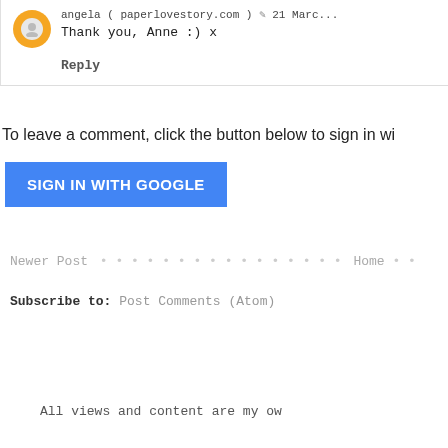angela ( paperlovestory.com ) 21 Marc...
Thank you, Anne :) x
Reply
To leave a comment, click the button below to sign in wi...
[Figure (other): SIGN IN WITH GOOGLE button (blue)]
Newer Post • • • • • • • • • • • • • • • • Home •
Subscribe to: Post Comments (Atom)
All views and content are my ow...